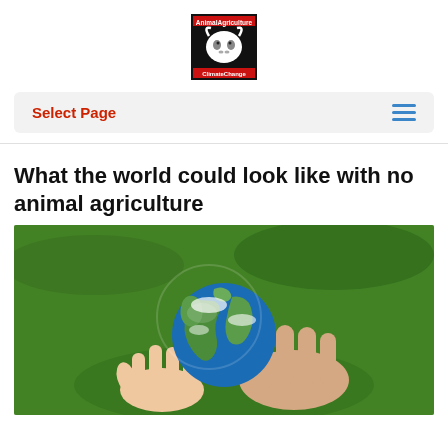[Figure (logo): Animal Agriculture & Climate Change logo — black background with white cow head graphic, bold text 'AnimalAgriculture' at top and 'ClimateChange' at bottom]
Select Page
What the world could look like with no animal agriculture
[Figure (photo): Hands of an adult and a child cradling a globe-shaped Earth ball against a lush green grass background]